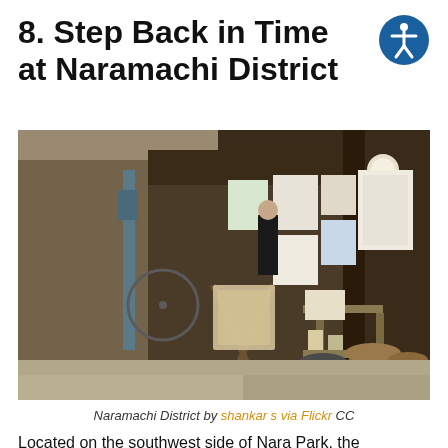8. Step Back in Time at Naramachi District
[Figure (photo): Street view of a traditional Japanese shop/building in Naramachi District showing wooden architecture, signs in Japanese, baskets and pottery displayed outside, a person in dark clothing visible in the background, and a bicycle near the entrance.]
Naramachi District by shankar s via Flickr CC
Located on the southwest side of Nara Park, the